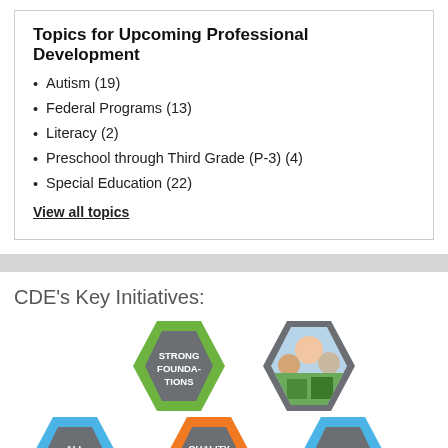Topics for Upcoming Professional Development
Autism (19)
Federal Programs (13)
Literacy (2)
Preschool through Third Grade (P-3) (4)
Special Education (22)
View all topics
CDE's Key Initiatives:
[Figure (infographic): Hexagonal CDE key initiatives graphic showing: Strong Foundations (green outlined hex), a photo hex, All Means All (blue outlined hex), Quality Schools (orange outlined hex), More Options (light blue outlined hex) — all with gray inner hexagons and white bold text labels]